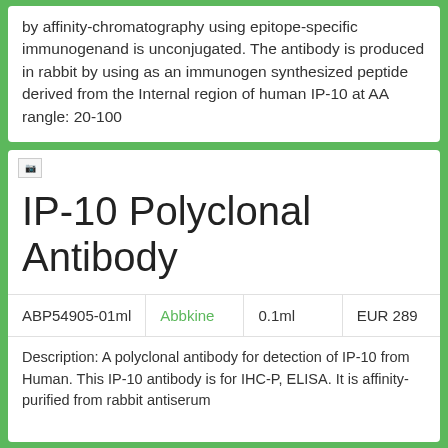by affinity-chromatography using epitope-specific immunogenand is unconjugated. The antibody is produced in rabbit by using as an immunogen synthesized peptide derived from the Internal region of human IP-10 at AA rangle: 20-100
IP-10 Polyclonal Antibody
|  |  |  |  |
| --- | --- | --- | --- |
| ABP54905-01ml | Abbkine | 0.1ml | EUR 289 |
Description: A polyclonal antibody for detection of IP-10 from Human. This IP-10 antibody is for IHC-P, ELISA. It is affinity-purified from rabbit antiserum